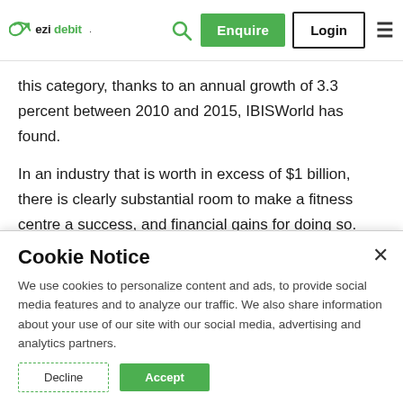ezidebit | Enquire | Login
this category, thanks to an annual growth of 3.3 percent between 2010 and 2015, IBISWorld has found.
In an industry that is worth in excess of $1 billion, there is clearly substantial room to make a fitness centre a success, and financial gains for doing so. However, with more people wanting to sign up and use gym facilities than perhaps any other decade in history...
Cookie Notice
We use cookies to personalize content and ads, to provide social media features and to analyze our traffic. We also share information about your use of our site with our social media, advertising and analytics partners.